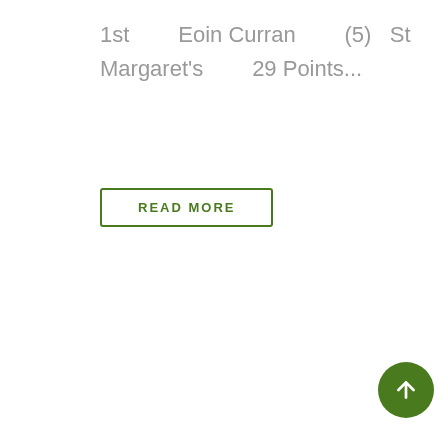1st    Eoin Curran    (5)  St Margaret's    29 Points...
READ MORE
[Figure (other): Pagination grid showing page numbers < 1 2 3 4 / 5 6 7 8 9 / 10 11 12 13 14 / 15 16 17 18 19 / 20 21 22 23 24 / (partial row)]